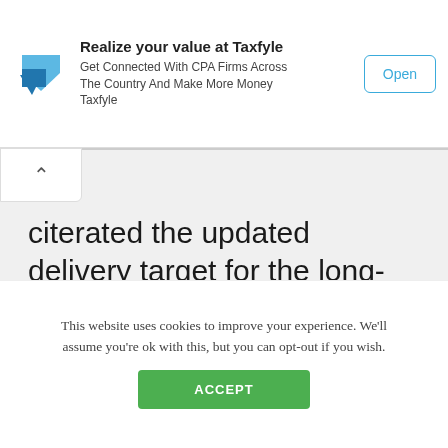[Figure (screenshot): Taxfyle app advertisement banner showing logo, text 'Realize your value at Taxfyle', 'Get Connected With CPA Firms Across The Country And Make More Money Taxfyle', and an Open button]
citerated the updated delivery target for the long-delayed carbon-composite commercial aircraft.
[Figure (screenshot): CPACharge advertisement: logo with 'Get Started for Free' button, headline 'Getting paid shouldn't cost your time.' and subtext 'Signing up for CPACharge is fast, and free until 2023']
Last week, the company announced
This website uses cookies to improve your experience. We'll assume you're ok with this, but you can opt-out if you wish.